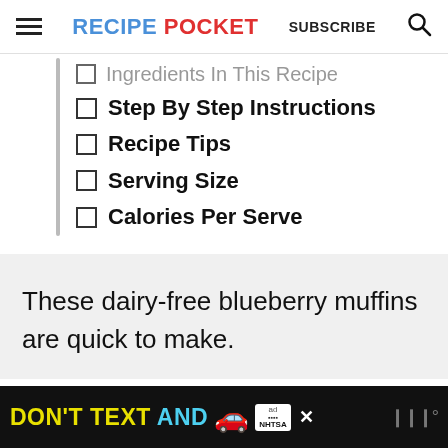RECIPE POCKET | SUBSCRIBE
Ingredients In This Recipe
Step By Step Instructions
Recipe Tips
Serving Size
Calories Per Serve
These dairy-free blueberry muffins are quick to make.
DON'T TEXT AND [car emoji] ad NHTSA